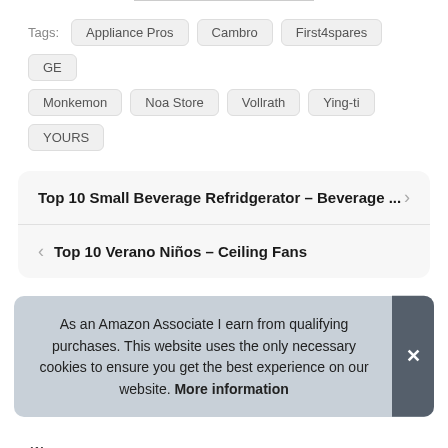Tags: Appliance Pros  Cambro  First4spares  GE  Monkemon  Noa Store  Vollrath  Ying-ti  YOURS
Top 10 Small Beverage Refridgerator – Beverage ...
Top 10 Verano Niños – Ceiling Fans
As an Amazon Associate I earn from qualifying purchases. This website uses the only necessary cookies to ensure you get the best experience on our website. More information